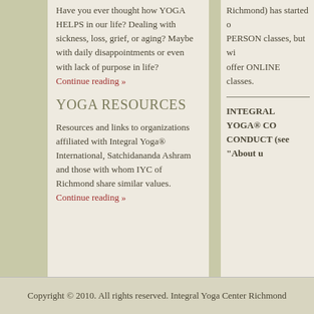Have you ever thought how YOGA HELPS in our life? Dealing with sickness, loss, grief, or aging? Maybe with daily disappointments or even with lack of purpose in life?
Continue reading »
YOGA RESOURCES
Resources and links to organizations affiliated with Integral Yoga® International, Satchidananda Ashram and those with whom IYC of Richmond share similar values.
Continue reading »
Richmond) has started o... PERSON classes, but wi... offer ONLINE classes.
INTEGRAL YOGA® CO... CONDUCT (see "About u...
Copyright © 2010. All rights reserved. Integral Yoga Center Richmond